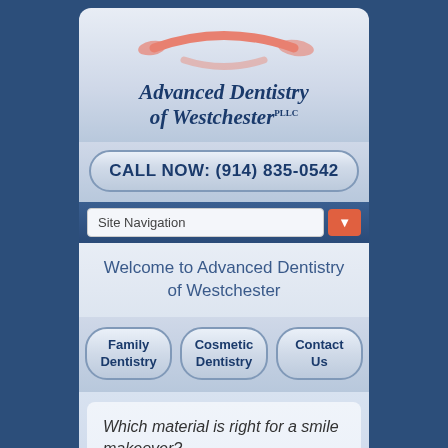[Figure (logo): Advanced Dentistry of Westchester PLLC logo with salmon/pink smile graphic and script text]
CALL NOW: (914) 835-0542
Site Navigation
Welcome to Advanced Dentistry of Westchester
Family Dentistry
Cosmetic Dentistry
Contact Us
Which material is right for a smile makeover?